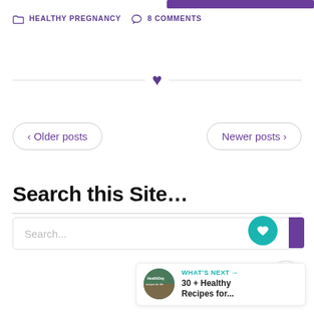HEALTHY PREGNANCY   8 COMMENTS
[Figure (illustration): Decorative divider with a purple heart in the center flanked by horizontal lines]
< Older posts
Newer posts >
Search this Site…
Search...
[Figure (infographic): WHAT'S NEXT arrow label with thumbnail image and text: 30 + Healthy Recipes for...]